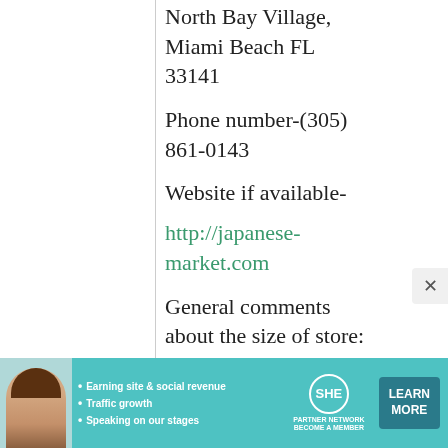North Bay Village,
Miami Beach FL
33141
Phone number-(305) 861-0143
Website if available-
http://japanese-market.com
General comments about the size of store:
A large selection of